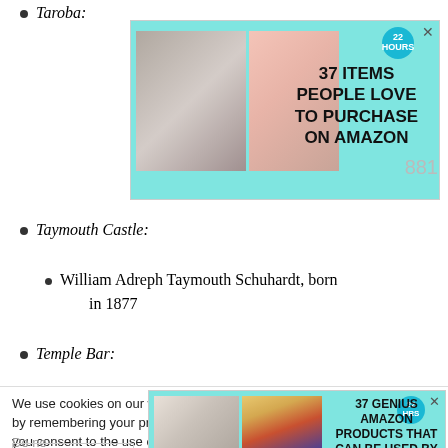Taroba:
[Figure (advertisement): Ad banner: teal background with two product images on left, badge showing '22' top right, text '37 ITEMS PEOPLE LOVE TO PURCHASE ON AMAZON' in bold black]
Taymouth Castle:
William Adreph Taymouth Schuhardt, born in 1877
Temple Bar:
We use cookies on our website to give you the most relevant experience by remembering your preferences and repeat visits. By clicking “Accept”, you consent to the use of ALL the cookies.
Do no[t sell...]
Coo[kie Settings]
[Figure (advertisement): Ad banner: teal background with two product images on left, badge showing '22' top right, text '37 GENIUS AMAZON PRODUCTS THAT CAN BE USED BY ANYONE' in bold black]